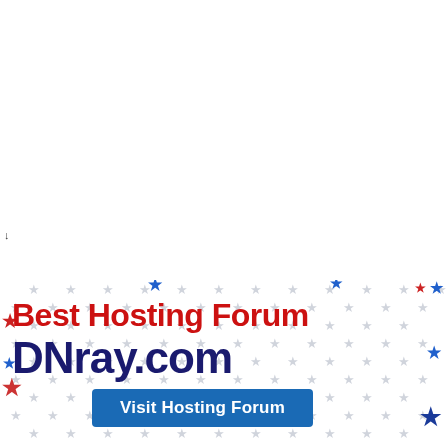↓
[Figure (illustration): Promotional banner for DNray.com hosting forum. White background with scattered red, blue, and gray stars pattern. Bold red text reads 'Best Hosting Forum', bold dark navy text reads 'DNray.com', and a blue button reads 'Visit Hosting Forum'.]